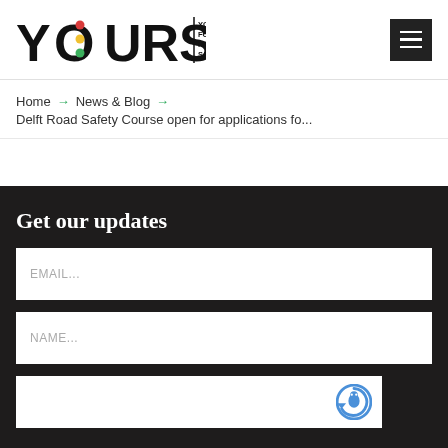[Figure (logo): YOURS Youth for Road Safety logo with traffic light colors in the O letter]
Home → News & Blog → Delft Road Safety Course open for applications fo...
Get our updates
EMAIL...
NAME...